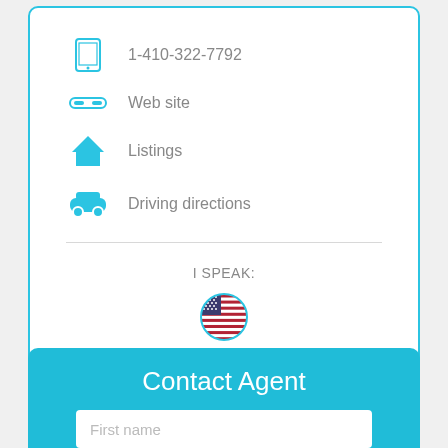1-410-322-7792
Web site
Listings
Driving directions
I SPEAK:
[Figure (illustration): US flag circle icon representing English language]
English
Contact Agent
First name